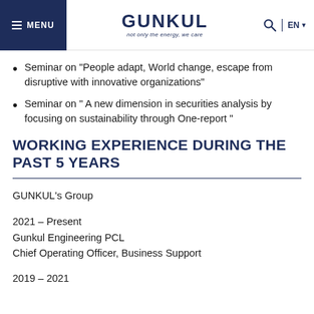MENU | GUNKUL not only the energy, we care | EN
Seminar on "People adapt, World change, escape from disruptive with innovative organizations"
Seminar on " A new dimension in securities analysis by focusing on sustainability through One-report "
WORKING EXPERIENCE DURING THE PAST 5 YEARS
GUNKUL's Group
2021 – Present
Gunkul Engineering PCL
Chief Operating Officer, Business Support
2019 – 2021